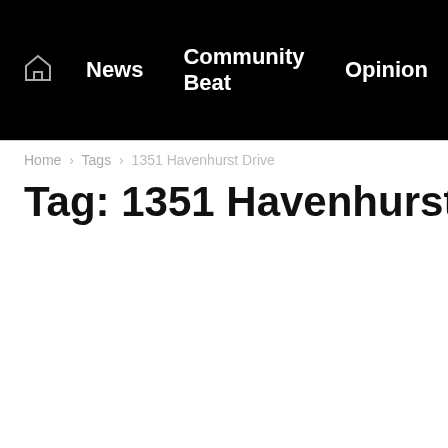News  Community Beat  Opinion
Home › Tags › 1351 Havenhurst Drive
Tag: 1351 Havenhurst Drive